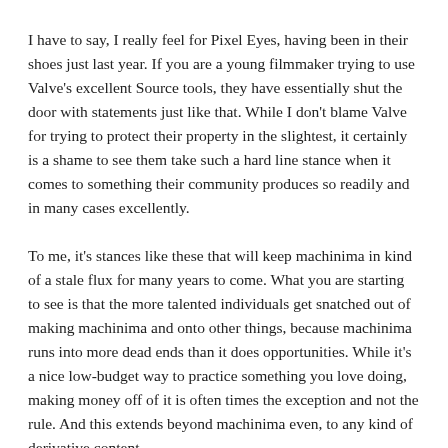I have to say, I really feel for Pixel Eyes, having been in their shoes just last year. If you are a young filmmaker trying to use Valve's excellent Source tools, they have essentially shut the door with statements just like that. While I don't blame Valve for trying to protect their property in the slightest, it certainly is a shame to see them take such a hard line stance when it comes to something their community produces so readily and in many cases excellently.
To me, it's stances like these that will keep machinima in kind of a stale flux for many years to come. What you are starting to see is that the more talented individuals get snatched out of making machinima and onto other things, because machinima runs into more dead ends than it does opportunities. While it's a nice low-budget way to practice something you love doing, making money off of it is often times the exception and not the rule. And this extends beyond machinima even, to any kind of derivative content